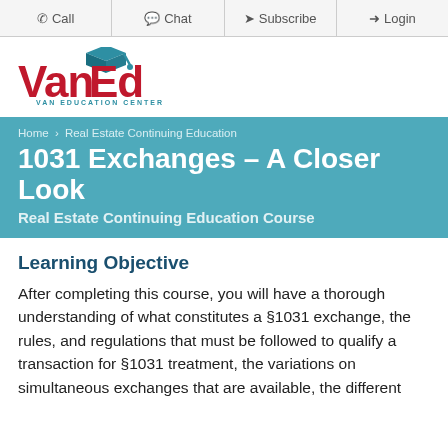Call  Chat  Subscribe  Login
[Figure (logo): VanEd Van Education Center logo with graduation cap icon in teal, red bold text]
Home > Real Estate Continuing Education
1031 Exchanges - A Closer Look
Real Estate Continuing Education Course
Learning Objective
After completing this course, you will have a thorough understanding of what constitutes a §1031 exchange, the rules, and regulations that must be followed to qualify a transaction for §1031 treatment, the variations on simultaneous exchanges that are available, the different